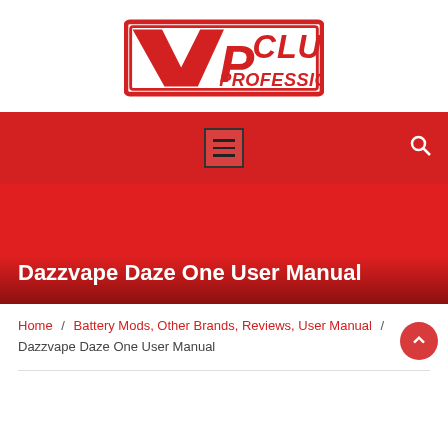[Figure (logo): VP Club Professional logo — red rectangle border with white interior, large red stylized 'V' and 'P', text 'CLUB' and 'PROFESSIONAL' in red block letters]
[Figure (screenshot): Red navigation bar with hamburger menu icon in bordered box at center and search (magnifying glass) icon at right]
Dazzvape Daze One User Manual
Home / Battery Mods, Other Brands, Reviews, User Manual / Dazzvape Daze One User Manual